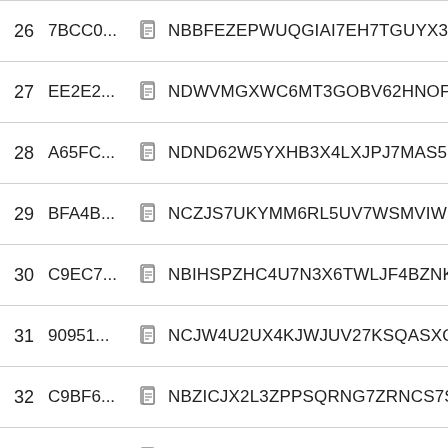26  7BCC0...  NBBFEZEPWUQGIAI7EH7TGUYX3K5SXWWM7
27  EE2E2...  NDWVMGXWC6MT3GOBV62HNOFII3TSHO7GA
28  A65FC...  NDND62W5YXHB3X4LXJPJ7MAS52T2FNTUHZ
29  BFA4B...  NCZJS7UKYMM6RL5UV7WSMVIWLAQ6TDAY4
30  C9EC7...  NBIHSPZHC4U7N3X6TWLJF4BZNKRMCZN5C3
31  90951...  NCJW4U2UX4KJWJUV27KSQASXQ7NBECLNZ
32  C9BF6...  NBZICJX2L3ZPPSQRNG7ZRNCS7SKF2PMITUV
33  95AED...  NDMSIJ6LC4P5ZL3THUNDYRD3U6NOVYFYFU
34  C9EC7...  NBIHSPZHC4U7N3X6TWLJF4BZNKRMCZN5C3